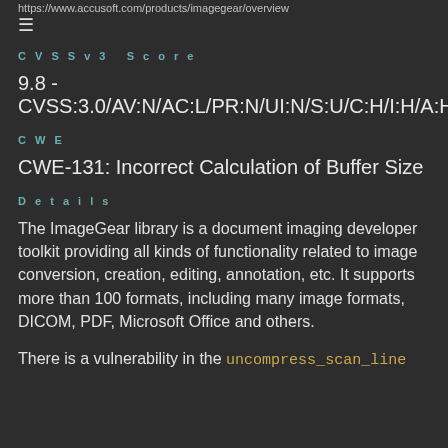https://www.accusoft.com/products/imagegear/overview
CVSSv3 Score
9.8 - CVSS:3.0/AV:N/AC:L/PR:N/UI:N/S:U/C:H/I:H/A:H
CWE
CWE-131: Incorrect Calculation of Buffer Size
Details
The ImageGear library is a document imaging developer toolkit providing all kinds of functionality related to image conversion, creation, editing, annotation, etc. It supports more than 100 formats, including many image formats, DICOM, PDF, Microsoft Office and others.
There is a vulnerability in the uncompress_scan_line